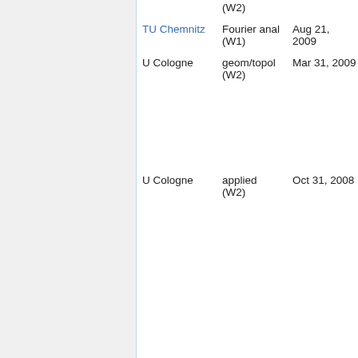| Institution | Area | Date | Names |
| --- | --- | --- | --- |
|  | (W2) |  |  |
| TU Chemnitz | Fourier anal (W1) | Aug 21, 2009 |  |
| U Cologne | geom/topol (W2) | Mar 31, 2009 | Richa... Weid... Thom... Voge... Muni... Janko... Latsc... Chris... [6] |
| U Cologne | applied (W2) | Oct 31, 2008 | Maria... Neus... Wilhe... Huisi... Matth... Röge... Nicol... Marh... Stefa... Siegr... Chris... |